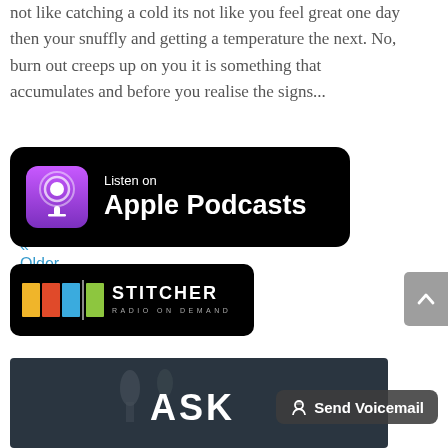not like catching a cold its not like you feel great one day then your snuffly and getting a temperature the next. No, burn out creeps up on you it is something that accumulates and before you realise the signs...
« Older Entries
[Figure (logo): Listen on Apple Podcasts badge — black rounded rectangle with purple podcast icon and white text]
[Figure (logo): Stitcher Radio on Demand badge — black rounded rectangle with colorful bars logo and white STITCHER text]
[Figure (photo): Partial photo showing microphone with ASK text overlay and Send Voicemail button]